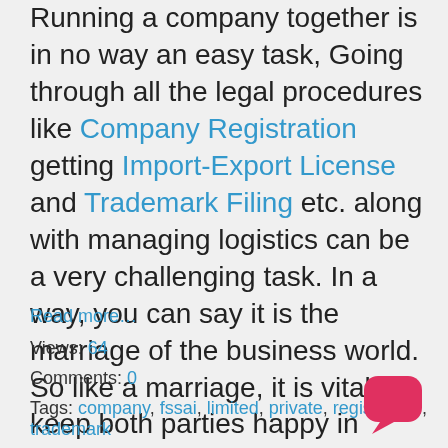Running a company together is in no way an easy task, Going through all the legal procedures like Company Registration getting Import-Export License and Trademark Filing etc. along with managing logistics can be a very challenging task. In a way, you can say it is the marriage of the business world. So like a marriage, it is vital to keep both parties happy in order for the relationship or the business to prosper. However, no relationship whether it's a marriage or a business is free from hiccup
Read more…
Views: 64
Comments: 0
Tags: company, fssai, limited, private, registration, trademark
[Figure (illustration): Red/pink chat bubble icon in the bottom right corner]